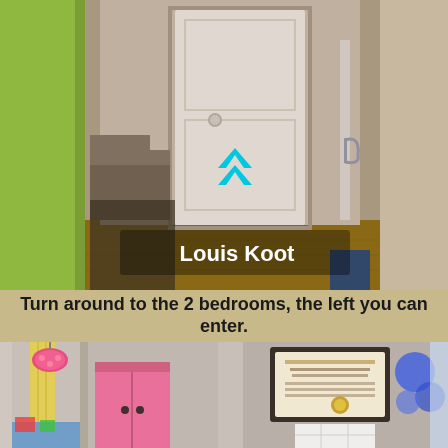[Figure (photo): Interior hallway photo showing two doors. On the left, a yellow-green wall is visible. In the center, a white closed door with a round handle. On the right, a partially open door with a silver handle revealing a room beyond. Hardwood floor visible. A cyan/teal upward-pointing chevron arrow overlaid on the image. Text overlay reads 'Louis Koot' in bold white.]
Turn around to the 2 bedrooms, the left you can enter.
[Figure (photo): Two-panel bottom photo. Left panel shows a children's bedroom with a pink wardrobe, colorful hanging lamp with pink floral shade, yellow curtains, and toys/decorations visible. Right panel shows a wall with a dark-framed certificate/diploma hanging, a white shelf unit below it, and blue balloons partially visible on the right edge.]